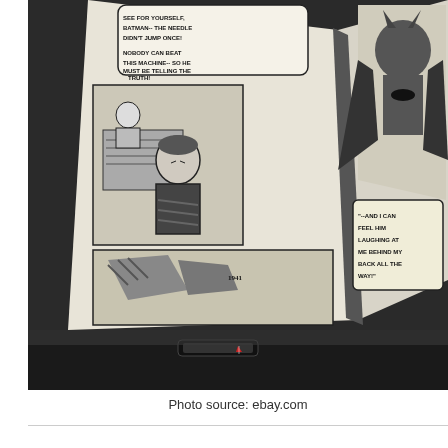[Figure (photo): A photograph of an open comic book (Batman) showing black and white comic panels. The left page shows speech bubbles with text including 'SEE FOR YOURSELF, BATMAN-- THE NEEDLE DIDN'T JUMP ONCE!', 'NOBODY CAN BEAT THIS MACHINE-- SO HE MUST BE TELLING THE TRUTH!', and a panel showing a man at a machine with another figure behind him. The right page shows Batman and speech bubbles reading '--AND I CAN FEEL HIM LAUGHING AT ME BEHIND MY BACK ALL THE WAY!'. The comic book is open and slightly curled, photographed from above on what appears to be a dark surface with a bag strap visible.]
Photo source: ebay.com